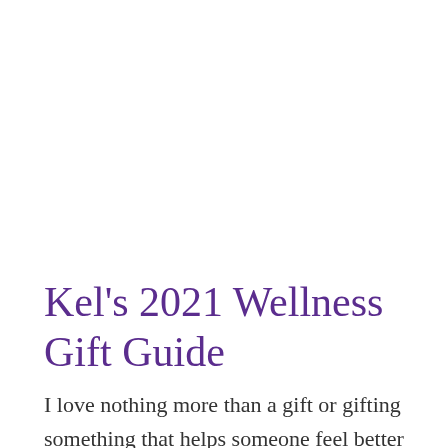Kel's 2021 Wellness Gift Guide
I love nothing more than a gift or gifting something that helps someone feel better to live a high-quality